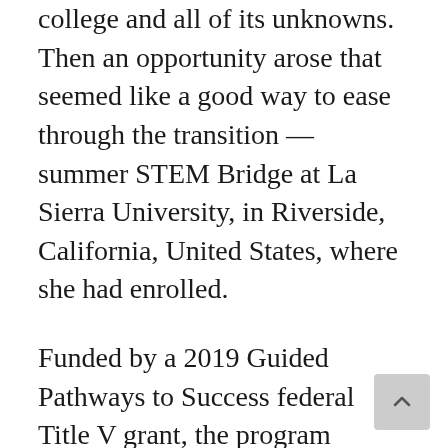college and all of its unknowns. Then an opportunity arose that seemed like a good way to ease through the transition — summer STEM Bridge at La Sierra University, in Riverside, California, United States, where she had enrolled.
Funded by a 2019 Guided Pathways to Success federal Title V grant, the program launched as a pilot in August 2021 for incoming first-year students interested in careers in STEM — science, technology, engineering, or math fields. The two-week intensive gives first-year college students a training platform and opportunities ahead of the regular academic year to